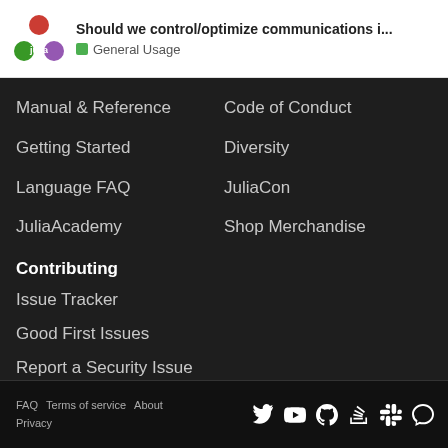Should we control/optimize communications i... General Usage
Manual & Reference
Code of Conduct
Getting Started
Diversity
Language FAQ
JuliaCon
JuliaAcademy
Shop Merchandise
Contributing
Issue Tracker
Good First Issues
Report a Security Issue
Sponsor on GitHub
FAQ  Terms of service  About  Privacy